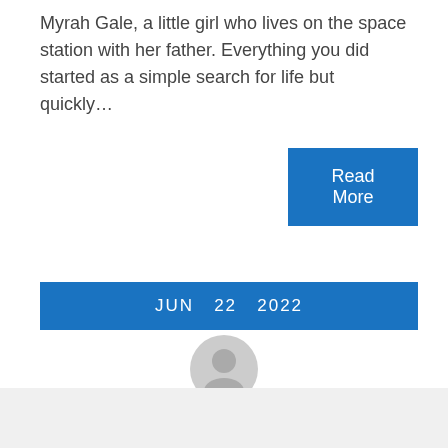Myrah Gale, a little girl who lives on the space station with her father. Everything you did started as a simple search for life but quickly…
Read More
JUN  22  2022
[Figure (illustration): Generic user avatar icon — circular grey silhouette of a person]
By
californianews_gkdgq8